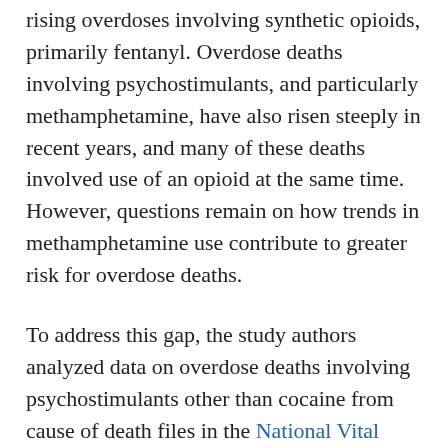rising overdoses involving synthetic opioids, primarily fentanyl. Overdose deaths involving psychostimulants, and particularly methamphetamine, have also risen steeply in recent years, and many of these deaths involved use of an opioid at the same time. However, questions remain on how trends in methamphetamine use contribute to greater risk for overdose deaths.
To address this gap, the study authors analyzed data on overdose deaths involving psychostimulants other than cocaine from cause of death files in the National Vital Statistics System from 2015 to 2019. They also assessed the methamphetamine use patterns of U.S. adults ages 18 to 64 – the age group at highest risk of substance use and overdose deaths – from the National Survey on Drug Use and Health (NSDUH), which provides annual information on tobacco, alcohol, and other drug use, mental health, and other health-related issues in the